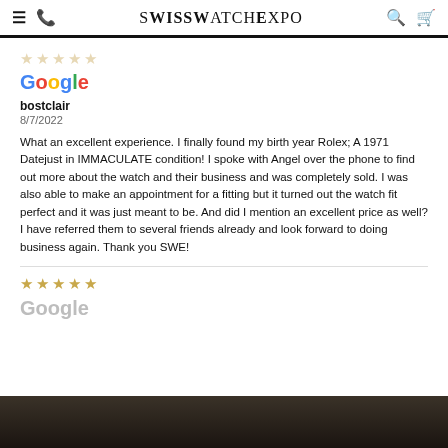SwissWatchExpo
[Figure (other): Five gold stars rating (partially faded)]
[Figure (logo): Google logo in multicolor]
bostclair
8/7/2022
What an excellent experience. I finally found my birth year Rolex; A 1971 Datejust in IMMACULATE condition! I spoke with Angel over the phone to find out more about the watch and their business and was completely sold. I was also able to make an appointment for a fitting but it turned out the watch fit perfect and it was just meant to be. And did I mention an excellent price as well? I have referred them to several friends already and look forward to doing business again. Thank you SWE!
[Figure (other): Five gold stars rating]
[Figure (logo): Google logo in grey/faded]
[Figure (photo): Dark background image at bottom of page]